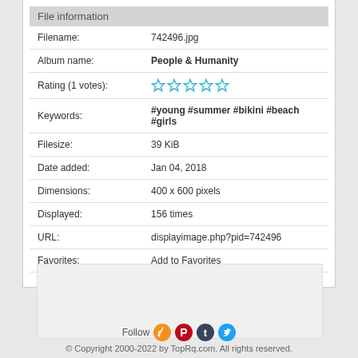| Field | Value |
| --- | --- |
| Filename: | 742496.jpg |
| Album name: | People & Humanity |
| Rating (1 votes): | ★☆☆☆☆ |
| Keywords: | #young #summer #bikini #beach #girls |
| Filesize: | 39 KiB |
| Date added: | Jan 04, 2018 |
| Dimensions: | 400 x 600 pixels |
| Displayed: | 156 times |
| URL: | displayimage.php?pid=742496 |
| Favorites: | Add to Favorites |
Follow
© Copyright 2000-2022 by TopRq.com. All rights reserved.